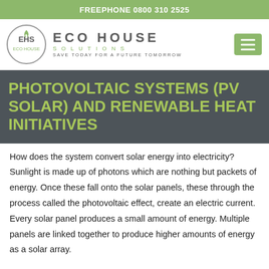FREEPHONE 0800 310 2525
[Figure (logo): Eco House Solutions logo with circular EHS emblem and text ECO HOUSE SOLUTIONS - SAVE TODAY FOR A FUTURE TOMORROW]
PHOTOVOLTAIC SYSTEMS (PV SOLAR) AND RENEWABLE HEAT INITIATIVES
How does the system convert solar energy into electricity? Sunlight is made up of photons which are nothing but packets of energy. Once these fall onto the solar panels, these through the process called the photovoltaic effect, create an electric current. Every solar panel produces a small amount of energy. Multiple panels are linked together to produce higher amounts of energy as a solar array.